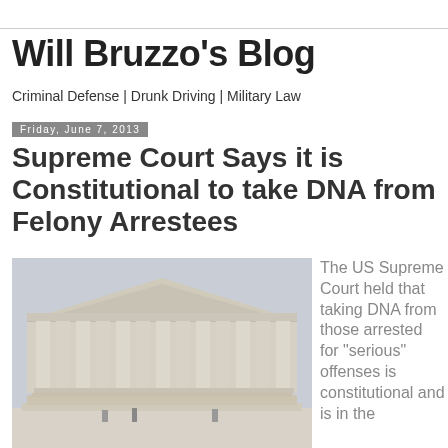Will Bruzzo's Blog
Criminal Defense | Drunk Driving | Military Law
Friday, June 7, 2013
Supreme Court Says it is Constitutional to take DNA from Felony Arrestees
[Figure (photo): Exterior photograph of the US Supreme Court building, showing white marble columns and steps]
The US Supreme Court held that taking DNA from those arrested for “serious” offenses is constitutional and is in the